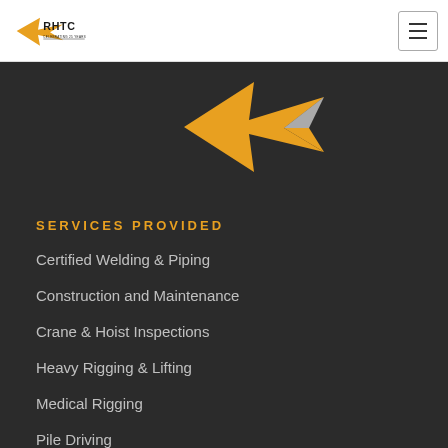[Figure (logo): RHTC logo with shark/arrow graphic and text 'CELEBRATING 25 YEARS']
[Figure (logo): Large RHTC logo graphic (orange/yellow arrow/shark shape) on dark background]
SERVICES PROVIDED
Certified Welding & Piping
Construction and Maintenance
Crane & Hoist Inspections
Heavy Rigging & Lifting
Medical Rigging
Pile Driving